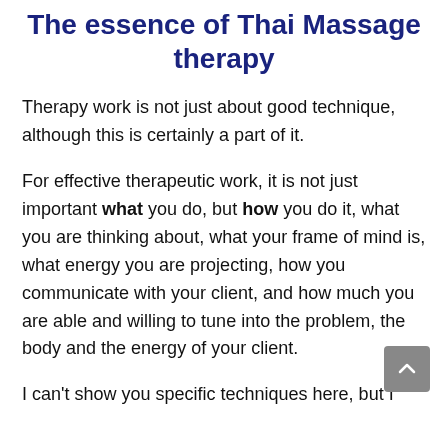The essence of Thai Massage therapy
Therapy work is not just about good technique, although this is certainly a part of it.
For effective therapeutic work, it is not just important what you do, but how you do it, what you are thinking about, what your frame of mind is, what energy you are projecting, how you communicate with your client, and how much you are able and willing to tune into the problem, the body and the energy of your client.
I can't show you specific techniques here, but I